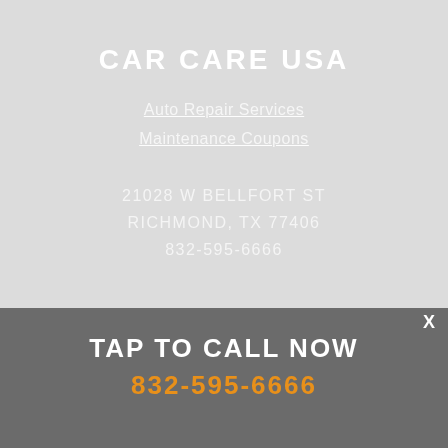CAR CARE USA
Auto Repair Services
Maintenance Coupons
21028 W BELLFORT ST
RICHMOND, TX 77406
832-595-6666
X
TAP TO CALL NOW
832-595-6666
Call today or come by the shop at 21028 W Bellfort St., Richmond, TX 77406. Ask any car or truck owner in Richmond who they recommend... Chances are they will tell you Car Care USA.